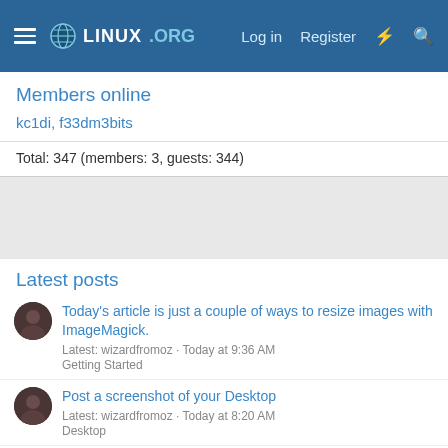Linux.org — Log in  Register
Members online
kc1di, f33dm3bits
Total: 347 (members: 3, guests: 344)
Latest posts
Today's article is just a couple of ways to resize images with ImageMagick. Latest: wizardfromoz · Today at 9:36 AM Getting Started
Post a screenshot of your Desktop Latest: wizardfromoz · Today at 8:20 AM Desktop
It no longer makes sense for windows to be the default gaming OS